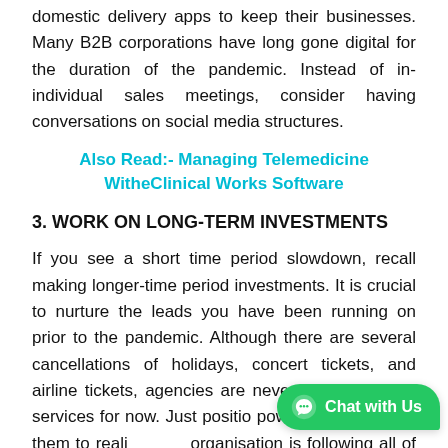domestic delivery apps to keep their businesses. Many B2B corporations have long gone digital for the duration of the pandemic. Instead of in-individual sales meetings, consider having conversations on social media structures.
Also Read:- Managing Telemedicine WitheClinical Works Software
3. WORK ON LONG-TERM INVESTMENTS
If you see a short time period slowdown, recall making longer-time period investments. It is crucial to nurture the leads you have been running on prior to the pandemic. Although there are several cancellations of holidays, concert tickets, and airline tickets, agencies are nevertheless keeping services for now. Just position power into permitting them to realize your organisation is following all of the precautions